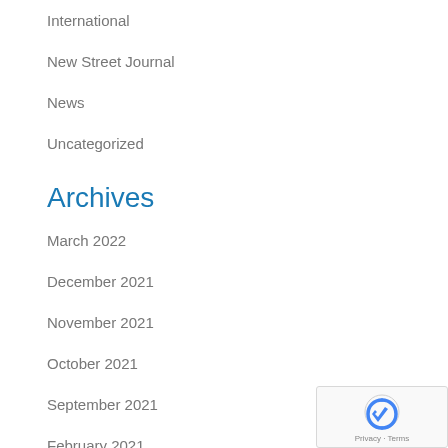International
New Street Journal
News
Uncategorized
Archives
March 2022
December 2021
November 2021
October 2021
September 2021
February 2021
January 2021
November 2020